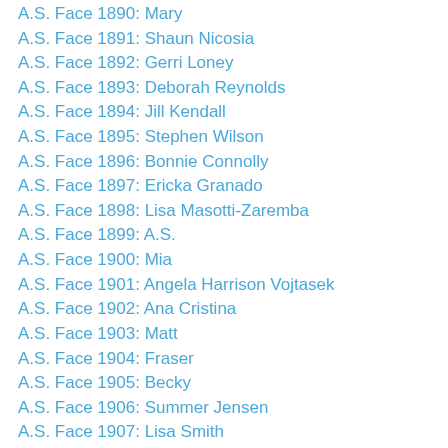A.S. Face 1890: Mary
A.S. Face 1891: Shaun Nicosia
A.S. Face 1892: Gerri Loney
A.S. Face 1893: Deborah Reynolds
A.S. Face 1894: Jill Kendall
A.S. Face 1895: Stephen Wilson
A.S. Face 1896: Bonnie Connolly
A.S. Face 1897: Ericka Granado
A.S. Face 1898: Lisa Masotti-Zaremba
A.S. Face 1899: A.S.
A.S. Face 1900: Mia
A.S. Face 1901: Angela Harrison Vojtasek
A.S. Face 1902: Ana Cristina
A.S. Face 1903: Matt
A.S. Face 1904: Fraser
A.S. Face 1905: Becky
A.S. Face 1906: Summer Jensen
A.S. Face 1907: Lisa Smith
A.S. Face 1908: Diannea Hutson
A.S. Face 1909: Ina Cummings